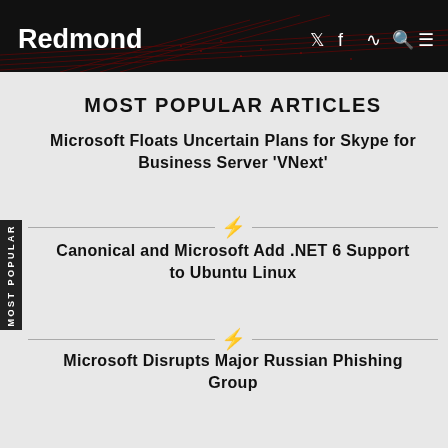Redmond
MOST POPULAR ARTICLES
Microsoft Floats Uncertain Plans for Skype for Business Server 'VNext'
Canonical and Microsoft Add .NET 6 Support to Ubuntu Linux
Microsoft Disrupts Major Russian Phishing Group